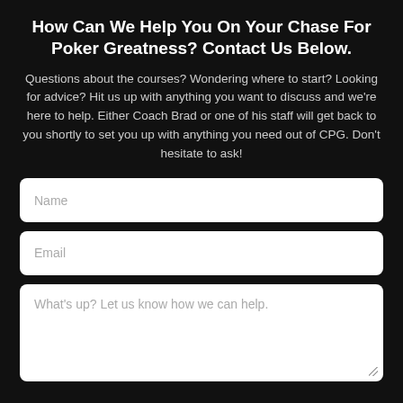How Can We Help You On Your Chase For Poker Greatness? Contact Us Below.
Questions about the courses? Wondering where to start? Looking for advice? Hit us up with anything you want to discuss and we're here to help. Either Coach Brad or one of his staff will get back to you shortly to set you up with anything you need out of CPG. Don't hesitate to ask!
Name
Email
What's up? Let us know how we can help.